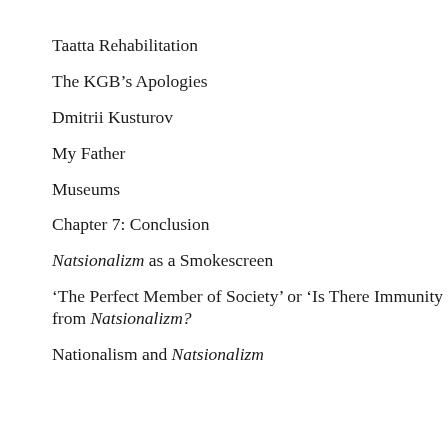Taatta Rehabilitation
The KGB’s Apologies
Dmitrii Kusturov
My Father
Museums
Chapter 7: Conclusion
Natsionalizm as a Smokescreen
‘The Perfect Member of Society’ or ‘Is There Immunity from Natsionalizm?
Nationalism and Natsionalizm